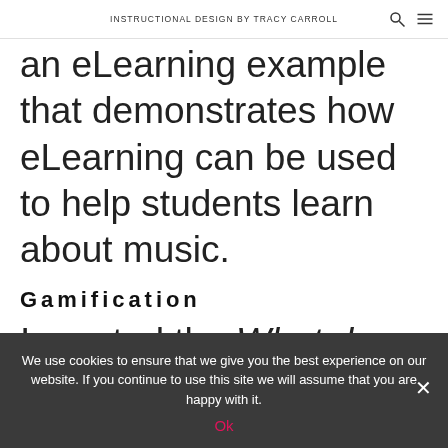INSTRUCTIONAL DESIGN BY TRACY CARROLL
an eLearning example that demonstrates how eLearning can be used to help students learn about music.
Gamification
I created the What do you Hear? game using Articulate Storyline 360, and Plotagon
We use cookies to ensure that we give you the best experience on our website. If you continue to use this site we will assume that you are happy with it.
Ok